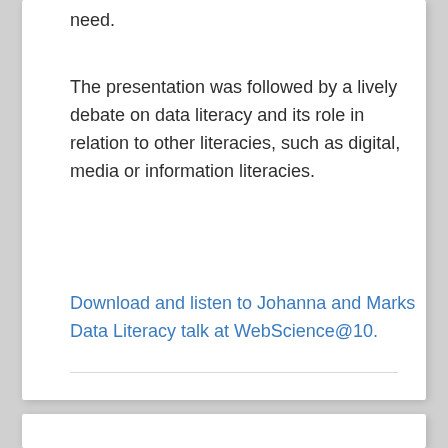need.
The presentation was followed by a lively debate on data literacy and its role in relation to other literacies, such as digital, media or information literacies.
Download and listen to Johanna and Marks Data Literacy talk at WebScience@10.